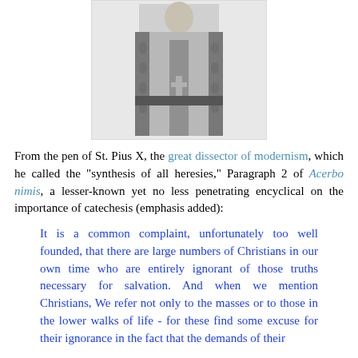[Figure (photo): Black and white photograph of St. Pius X in papal vestments with ornate embroidery]
From the pen of St. Pius X, the great dissector of modernism, which he called the "synthesis of all heresies," Paragraph 2 of Acerbo nimis, a lesser-known yet no less penetrating encyclical on the importance of catechesis (emphasis added):
It is a common complaint, unfortunately too well founded, that there are large numbers of Christians in our own time who are entirely ignorant of those truths necessary for salvation. And when we mention Christians, We refer not only to the masses or to those in the lower walks of life - for these find some excuse for their ignorance in the fact that the demands of their